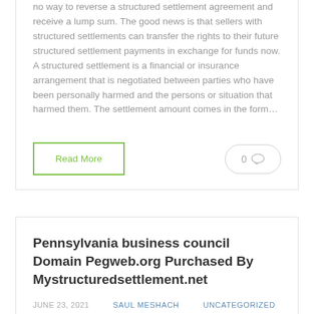no way to reverse a structured settlement agreement and receive a lump sum. The good news is that sellers with structured settlements can transfer the rights to their future structured settlement payments in exchange for funds now. A structured settlement is a financial or insurance arrangement that is negotiated between parties who have been personally harmed and the persons or situation that harmed them. The settlement amount comes in the form…
Read More
0
Pennsylvania business council Domain Pegweb.org Purchased By Mystructuredsettlement.net
JUNE 23, 2021   SAUL MESHACH   UNCATEGORIZED